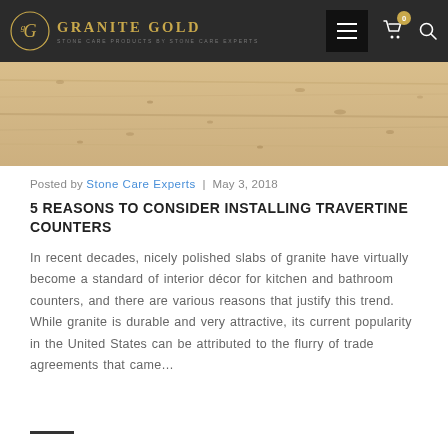Granite Gold | Stone Care Products By Stone Care Experts
[Figure (photo): Close-up photo of travertine stone surface with beige/cream tones and natural pitting texture]
Posted by Stone Care Experts | May 3, 2018
5 REASONS TO CONSIDER INSTALLING TRAVERTINE COUNTERS
In recent decades, nicely polished slabs of granite have virtually become a standard of interior décor for kitchen and bathroom counters, and there are various reasons that justify this trend. While granite is durable and very attractive, its current popularity in the United States can be attributed to the flurry of trade agreements that came…